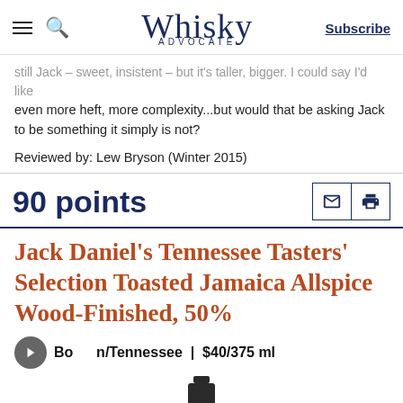Whisky Advocate — Subscribe
still Jack – sweet, insistent – but it's taller, bigger. I could say I'd like even more heft, more complexity...but would that be asking Jack to be something it simply is not?
Reviewed by: Lew Bryson (Winter 2015)
90 points
Jack Daniel's Tennessee Tasters' Selection Toasted Jamaica Allspice Wood-Finished, 50%
Bourbon/Tennessee | $40/375 ml